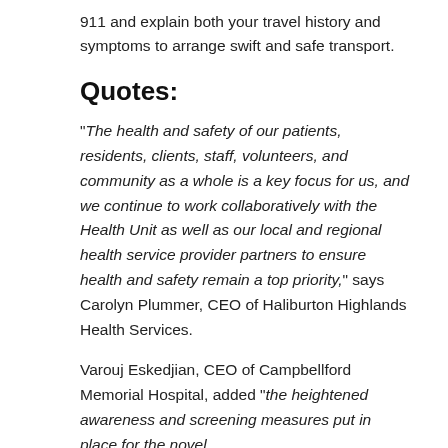911 and explain both your travel history and symptoms to arrange swift and safe transport.
Quotes:
“The health and safety of our patients, residents, clients, staff, volunteers, and community as a whole is a key focus for us, and we continue to work collaboratively with the Health Unit as well as our local and regional health service provider partners to ensure health and safety remain a top priority,” says Carolyn Plummer, CEO of Haliburton Highlands Health Services.
Varouj Eskedjian, CEO of Campbellford Memorial Hospital, added “the heightened awareness and screening measures put in place for the novel